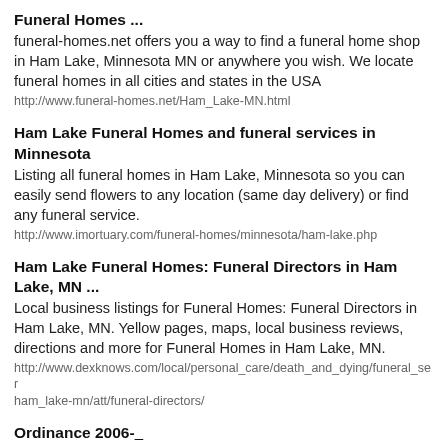Funeral Homes ...
funeral-homes.net offers you a way to find a funeral home shop in Ham Lake, Minnesota MN or anywhere you wish. We locate funeral homes in all cities and states in the USA
http://www.funeral-homes.net/Ham_Lake-MN.html
Ham Lake Funeral Homes and funeral services in Minnesota
Listing all funeral homes in Ham Lake, Minnesota so you can easily send flowers to any location (same day delivery) or find any funeral service.
http://www.imortuary.com/funeral-homes/minnesota/ham-lake.php
Ham Lake Funeral Homes: Funeral Directors in Ham Lake, MN ...
Local business listings for Funeral Homes: Funeral Directors in Ham Lake, MN. Yellow pages, maps, local business reviews, directions and more for Funeral Homes in Ham Lake, MN.
http://www.dexknows.com/local/personal_care/death_and_dying/funeral_ser ham_lake-mn/att/funeral-directors/
Ordinance 2006-__
with funerals, funeral processions and other funeral-related activities; Be it ordained by the City Council of the City of Ham